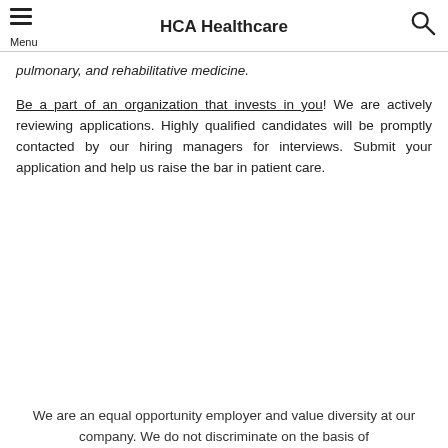HCA Healthcare
pulmonary, and rehabilitative medicine.
Be a part of an organization that invests in you! We are actively reviewing applications. Highly qualified candidates will be promptly contacted by our hiring managers for interviews. Submit your application and help us raise the bar in patient care.
We are an equal opportunity employer and value diversity at our company. We do not discriminate on the basis of